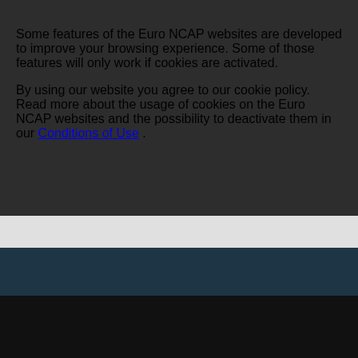Some features of the Euro NCAP websites are developed to improve your browsing experience. Some of those features will only work if cookies are activated.

By using our website you agree to our cookie policy. Read more about the usage of cookies on the Euro NCAP websites and the possibility to deactivate them in our Conditions of Use .
VIDEOS
DO NOT SHOW TH
READ MORE ON THIS
SUBSCRIBE FOR OUR LATEST NEWS
About Euro NCAP
Conditions of Use
Vehicle Safety